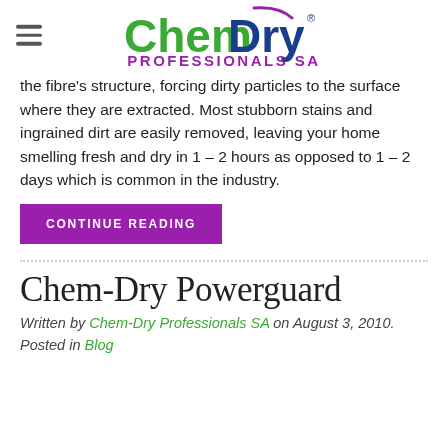[Figure (logo): Chem-Dry Professionals SA logo with hamburger menu icon]
the fibre's structure, forcing dirty particles to the surface where they are extracted. Most stubborn stains and ingrained dirt are easily removed, leaving your home smelling fresh and dry in 1 – 2 hours as opposed to 1 – 2 days which is common in the industry.
CONTINUE READING
Chem-Dry Powerguard
Written by Chem-Dry Professionals SA on August 3, 2010. Posted in Blog